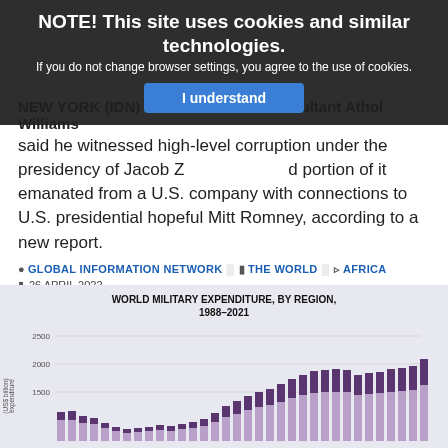NOTE! This site uses cookies and similar technologies.
If you do not change browser settings, you agree to the use of cookies.
I understand
NEW YORK (IDN) — South African consultant Athol Williams said he witnessed high-level corruption under the presidency of Jacob Zuma and a good portion of it emanated from a U.S. company with connections to U.S. presidential hopeful Mitt Romney, according to a new report.
GLOBAL INFORMATION NETWORK   THE WORLD   AFRICA
26 APRIL 2022
READ MORE ...
[Figure (stacked-bar-chart): Stacked bar chart showing world military expenditure by region from 1988 to 2021, y-axis shows expenditure in US$ billion with values at 1500, 2000, 2500. Bars grow taller over time reaching approximately 2000+ by 2021.]